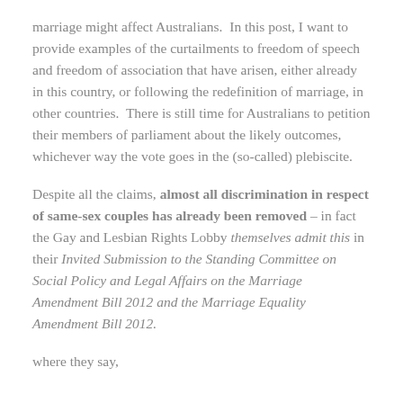marriage might affect Australians.  In this post, I want to provide examples of the curtailments to freedom of speech and freedom of association that have arisen, either already in this country, or following the redefinition of marriage, in other countries.  There is still time for Australians to petition their members of parliament about the likely outcomes, whichever way the vote goes in the (so-called) plebiscite.
Despite all the claims, almost all discrimination in respect of same-sex couples has already been removed – in fact the Gay and Lesbian Rights Lobby themselves admit this in their Invited Submission to the Standing Committee on Social Policy and Legal Affairs on the Marriage Amendment Bill 2012 and the Marriage Equality Amendment Bill 2012.
where they say,